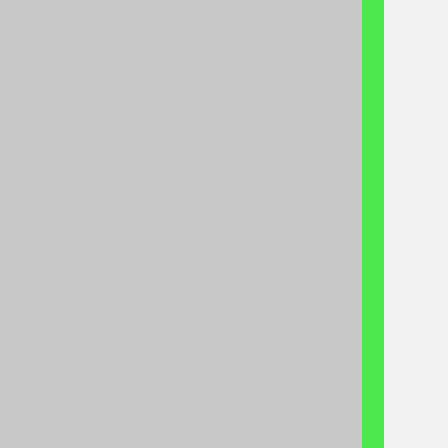[Figure (screenshot): Source code screenshot showing C code with a left gray column, a green highlighted column strip, and a right white/light column displaying partial lines of C code including memset, return, comment block about Low-level with Notes, static struct declaration, struct pil, enum pt_cr, and if statement.]